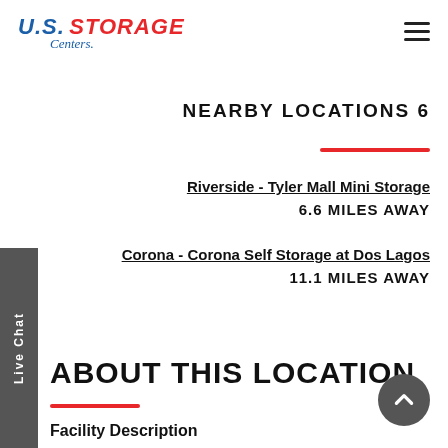US STORAGE Centers
NEARBY LOCATIONS 6
Riverside - Tyler Mall Mini Storage
6.6 MILES AWAY
Corona - Corona Self Storage at Dos Lagos
11.1 MILES AWAY
ABOUT THIS LOCATION
Facility Description